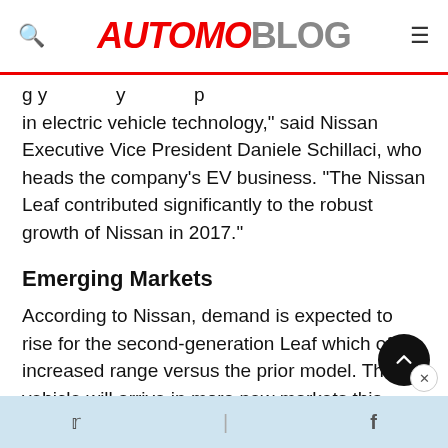AUTOMOBLOG
g y y p
in electric vehicle technology,” said Nissan Executive Vice President Daniele Schillaci, who heads the company’s EV business. “The Nissan Leaf contributed significantly to the robust growth of Nissan in 2017.”
Emerging Markets
According to Nissan, demand is expected to rise for the second-generation Leaf which offers increased range versus the prior model. The vehicle will arrive in more new markets this fiscal year, including Argentina, Australia, Brazil, Chile, China, Colombia, Costa Rica, Ecuador, Hong Kong, Malaysia, New